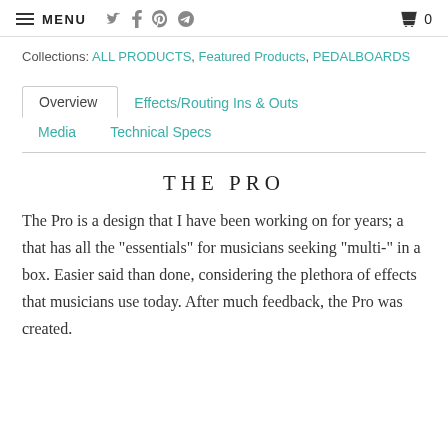MENU
Collections: ALL PRODUCTS, Featured Products, PEDALBOARDS
Overview  Effects/Routing Ins & Outs  Media  Technical Specs
THE PRO
The Pro is a design that I have been working on for years; a that has all the "essentials" for musicians seeking "multi-" in a box. Easier said than done, considering the plethora of effects that musicians use today. After much feedback, the Pro was created.